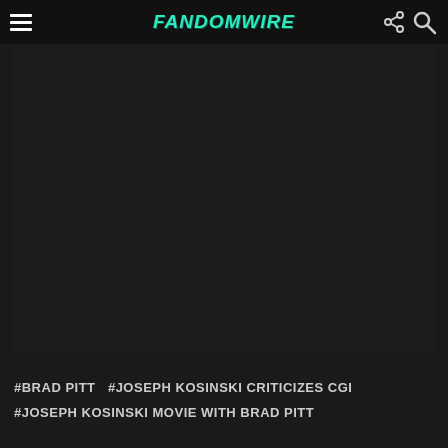FandomWire
[Figure (photo): Large dark image area, mostly black/very dark content]
#BRAD PITT  #JOSEPH KOSINSKI CRITICIZES CGI  #JOSEPH KOSINSKI MOVIE WITH BRAD PITT